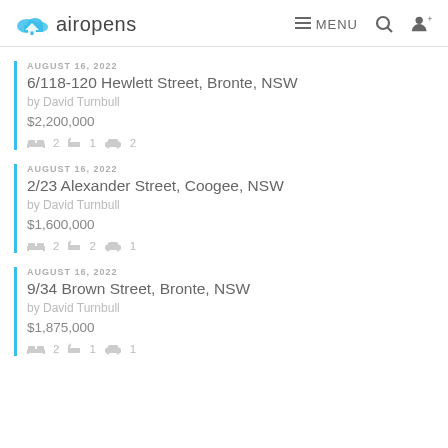airopens | MENU
AUGUST 16, 2022
6/118-120 Hewlett Street, Bronte, NSW
by David Turnbull
$2,200,000
beds 2  baths 1  cars 2
AUGUST 16, 2022
2/23 Alexander Street, Coogee, NSW
by David Turnbull
$1,600,000
beds 2  baths 2  cars 1
AUGUST 16, 2022
9/34 Brown Street, Bronte, NSW
by David Turnbull
$1,875,000
beds 2  baths 1  cars 1